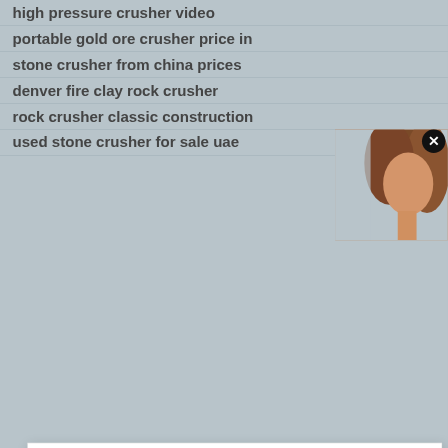high pressure crusher video
portable gold ore crusher price in
stone crusher from china prices
denver fire clay rock crusher
rock crusher classic construction
used stone crusher for sale uae
[Figure (photo): Chat assistant photo - woman with brown hair, partially visible]
[Figure (screenshot): Chat popup with avatar of Fiona and greeting message. Close X button top right. Name: Fiona. Message: Hello, I am Fiona, I am very glad to talk with you!]
LM Vertical Mill
MTW Trapezium Mill
MW Series Micro Powder Mill
LUM Ultrafine Vertical Roller Mill
[Figure (screenshot): Right sidebar panel: Have any requests, click here. Quote button. Badge circle with number 1. Enquiry section. Email: limingjlmofen@sina.com]
ZhengZhou N-CAI Corporation © 2020 Copyright. Crusher